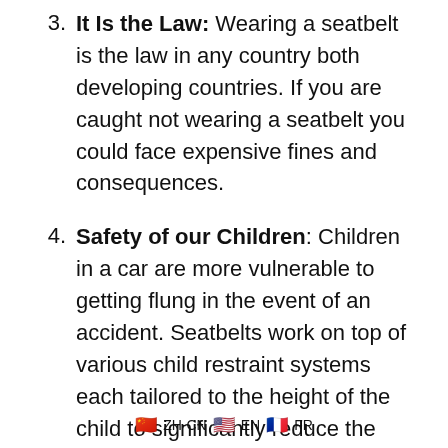3. It Is the Law: Wearing a seatbelt is the law in any country both developing countries. If you are caught not wearing a seatbelt you could face expensive fines and consequences.
4. Safety of our Children: Children in a car are more vulnerable to getting flung in the event of an accident. Seatbelts work on top of various child restraint systems each tailored to the height of the child to significantly reduce the fatality rate of children in car accidents. Of every 100 children who die in motor vehicle accidents at least, 80 would survive if they were properly secured in an approved child safety seat or safety belt